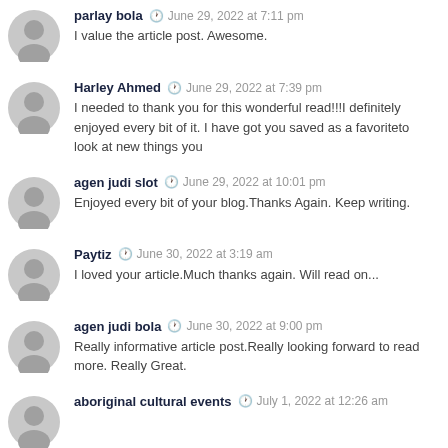parlay bola · June 29, 2022 at 7:11 pm
I value the article post. Awesome.
Harley Ahmed · June 29, 2022 at 7:39 pm
I needed to thank you for this wonderful read!!!I definitely enjoyed every bit of it. I have got you saved as a favoriteto look at new things you
agen judi slot · June 29, 2022 at 10:01 pm
Enjoyed every bit of your blog.Thanks Again. Keep writing.
Paytiz · June 30, 2022 at 3:19 am
I loved your article.Much thanks again. Will read on...
agen judi bola · June 30, 2022 at 9:00 pm
Really informative article post.Really looking forward to read more. Really Great.
aboriginal cultural events · July 1, 2022 at 12:26 am